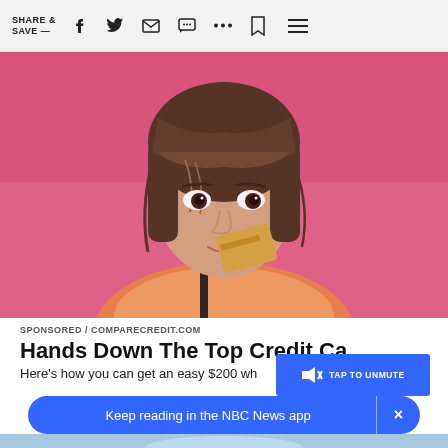SHARE & SAVE —
[Figure (photo): Young woman with dark hair and bangs, holding a gold/beige credit card near her face, smiling against a pink background]
SPONSORED / COMPARECREDIT.COM
Hands Down The Top Credit Ca
Here's how you can get an easy $200 wh
[Figure (screenshot): Blue overlay button with speaker/mute icon and text TAP TO UNMUTE, with an X close button]
Keep reading in the NBC News app